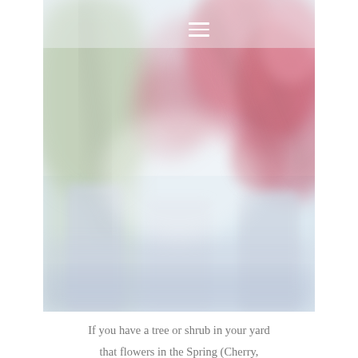[Figure (photo): A blurry, soft-focus photograph of flowering trees or shrubs with pink/red blossoms and white/grey vases or containers in the foreground. The image has a dreamy, pastel aesthetic with soft blues, whites, and pinks.]
If you have a tree or shrub in your yard that flowers in the Spring (Cherry,